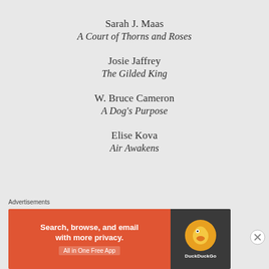Sarah J. Maas
A Court of Thorns and Roses
Josie Jaffrey
The Gilded King
W. Bruce Cameron
A Dog's Purpose
Elise Kova
Air Awakens
Charlotte and the...
Advertisements
[Figure (screenshot): DuckDuckGo advertisement banner: orange left panel with text 'Search, browse, and email with more privacy. All in One Free App', dark right panel with DuckDuckGo duck logo and brand name.]